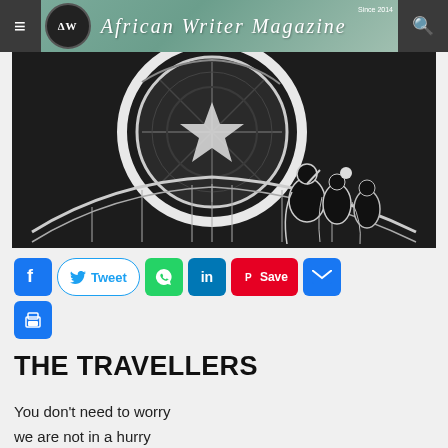African Writer Magazine — Since 2014
[Figure (illustration): Black and white woodcut-style illustration showing figures in robes with a large circular/wheel element and a bridge in the background]
[Figure (infographic): Social share buttons: Facebook, Tweet, WhatsApp, LinkedIn, Pinterest Save, Email, Print]
THE TRAVELLERS
You don't need to worry
we are not in a hurry
our lorry left early enough